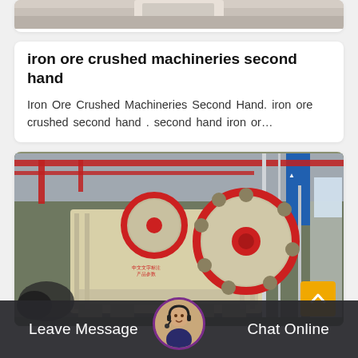[Figure (photo): Top partial image of industrial machinery, cropped at top of page]
iron ore crushed machineries second hand
Iron Ore Crushed Machineries Second Hand. iron ore crushed second hand . second hand iron or…
[Figure (photo): Photograph of a large jaw crusher machine in an industrial factory hall with red overhead cranes and steel framework]
Leave Message
Chat Online